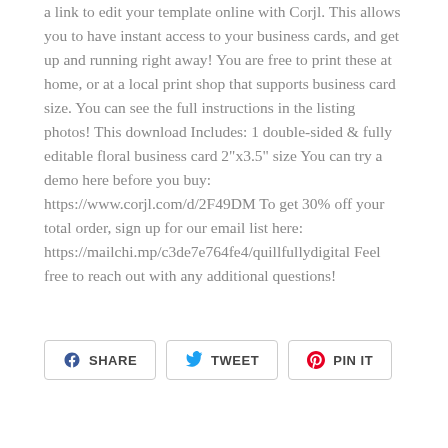a link to edit your template online with Corjl. This allows you to have instant access to your business cards, and get up and running right away! You are free to print these at home, or at a local print shop that supports business card size. You can see the full instructions in the listing photos! This download Includes: 1 double-sided & fully editable floral business card 2"x3.5" size You can try a demo here before you buy: https://www.corjl.com/d/2F49DM To get 30% off your total order, sign up for our email list here: https://mailchi.mp/c3de7e764fe4/quillfullydigital Feel free to reach out with any additional questions!
[Figure (other): Three social sharing buttons: Facebook SHARE, Twitter TWEET, Pinterest PIN IT]